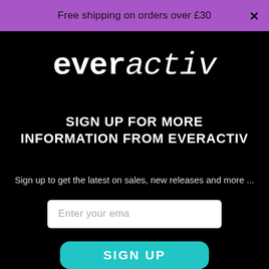Free shipping on orders over £30
[Figure (logo): everactiv logo in white bold/italic mixed typeface on black background]
SIGN UP FOR MORE INFORMATION FROM EVERACTIV
Sign up to get the latest on sales, new releases and more ...
Enter your ema
SIGN UP